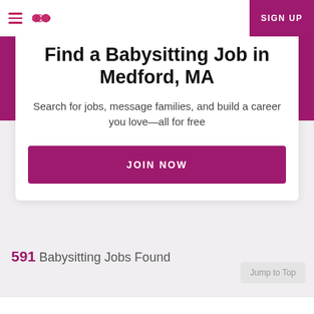Sittercity navigation bar with hamburger menu, logo, and SIGN UP button
Find a Babysitting Job in Medford, MA
Search for jobs, message families, and build a career you love—all for free
JOIN NOW
591 Babysitting Jobs Found
Jump to Top